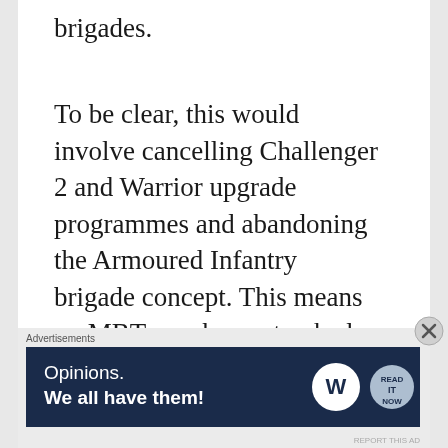brigades.
To be clear, this would involve cancelling Challenger 2 and Warrior upgrade programmes and abandoning the Armoured Infantry brigade concept. This means no MBTs, no heavy tracked IFVs. Instead, Army modernisation would focus on building a distinctive capability around medium weight wheeled forces capable of long-distance autonomous deployments and with a reduced logistical footprint. Such an approach would not automatically reduce the UK to being a second-tier player of no real value to our allies, but it give
[Figure (other): Advertisement banner: 'Opinions. We all have them!' with WordPress and another logo on dark navy background]